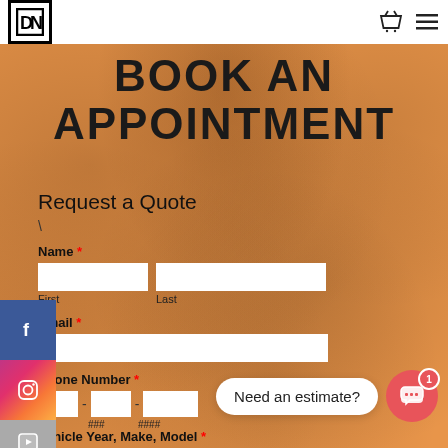DN logo, basket icon, menu icon
BOOK AN APPOINTMENT
Request a Quote
\
Name *
First   Last
Email *
Phone Number *
### - ### - ####
Vehicle Year, Make, Model *